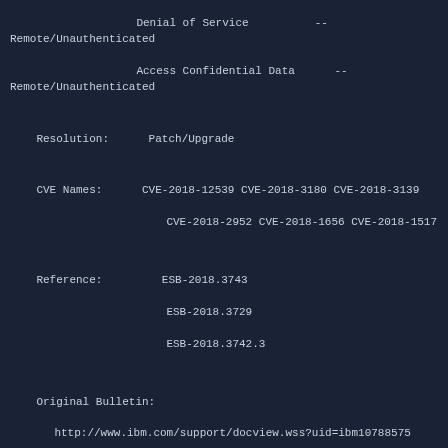Denial of Service          -- Remote/Unauthenticated
Access Confidential Data      -- Remote/Unauthenticated
Resolution:      Patch/Upgrade
CVE Names:      CVE-2018-12539 CVE-2018-3180 CVE-2018-3139
               CVE-2018-2952 CVE-2018-1656 CVE-2018-1517
Reference:         ESB-2018.3743
               ESB-2018.3729
               ESB-2018.3742.3
Original Bulletin:
  http://www.ibm.com/support/docview.wss?uid=ibm10788575
Revision History:  January  14 2019: Added Software Version
               December 17 2018: Initial Release
- ----------------------------BEGIN INCLUDED TEXT----------------------
- ----------------------------END INCLUDED TEXT----------------------
You have received this e-mail bulletin as a result of your organisation's registration with AusCERT. The mailing list you are subscribed to is maintained within your organisation, so if you do not wish to continue receiving these bulletins you should contact your local IT manager. If you do not know who that is, please send an email to auscert@auscert.org.au and we will forward your request to the appropriate person.
NOTE: Third Party Rights
This security bulletin is provided as a service to AusCERT's members.  As AusCERT did not write the document quoted above, AusCERT has had no co